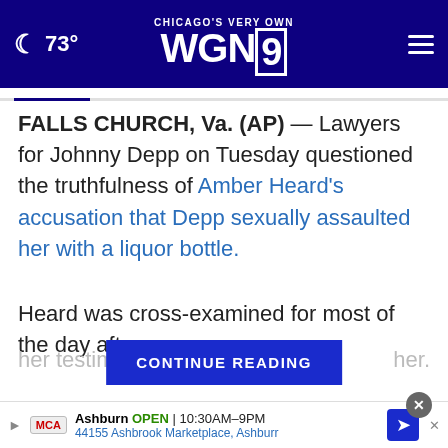73° CHICAGO'S VERY OWN WGN9
FALLS CHURCH, Va. (AP) — Lawyers for Johnny Depp on Tuesday questioned the truthfulness of Amber Heard's accusation that Depp sexually assaulted her with a liquor bottle.
Heard was cross-examined for most of the day after her testimony [CONTINUE READING] her.
[Figure (screenshot): Advertisement area with close button and partial text 'People Who are Y...']
Ashburn OPEN | 10:30AM–9PM 44155 Ashbrook Marketplace, Ashburr